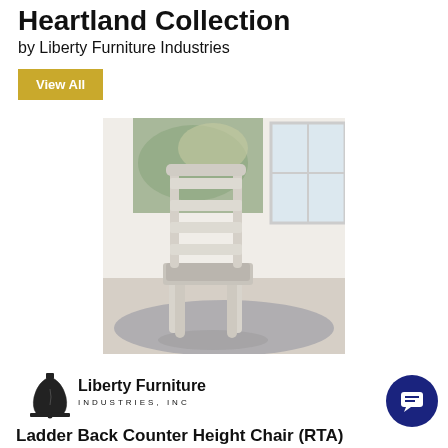Heartland Collection
by Liberty Furniture Industries
View All
[Figure (photo): White ladder-back counter height chair with upholstered seat, shown in a room setting with a rug, window, and artwork in background.]
[Figure (logo): Liberty Furniture Industries, Inc. logo with Liberty Bell icon]
Ladder Back Counter Height Chair (RTA)